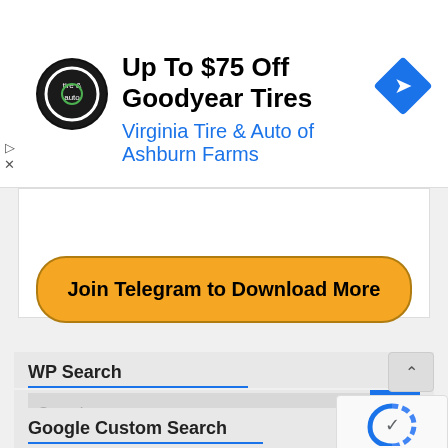[Figure (screenshot): Ad banner for Virginia Tire & Auto of Ashburn Farms showing tire & auto logo, headline 'Up To $75 Off Goodyear Tires', subtext 'Virginia Tire & Auto of Ashburn Farms', and a blue navigation diamond icon]
Get Course
Join Telegram to Download More
WP Search
Search ...
Google Custom Search